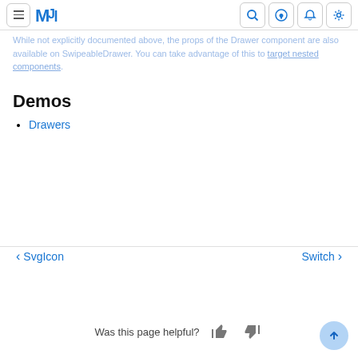MJ (Material-UI) documentation site header with navigation icons
While not explicitly documented above, the props of the Drawer component are also available on SwipeableDrawer. You can take advantage of this to target nested components.
Demos
Drawers
< SvgIcon    Switch >
Was this page helpful?